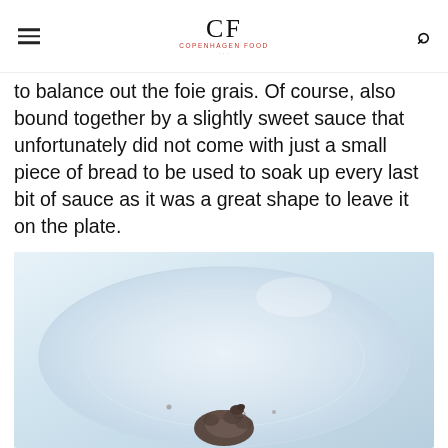CF Copenhagen FOOD
to balance out the foie grais. Of course, also bound together by a slightly sweet sauce that unfortunately did not come with just a small piece of bread to be used to soak up every last bit of sauce as it was a great shape to leave it on the plate.
[Figure (photo): A white plate with a small piece of food (foie gras or similar dark, textured dish) placed in the center, photographed from above on a light blue-white background.]